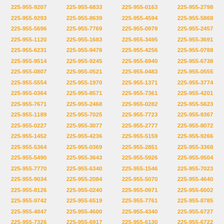| 225-955-9207 | 225-955-6833 | 225-955-0163 | 225-955-2798 |
| 225-955-9293 | 225-955-8639 | 225-955-4594 | 225-955-5868 |
| 225-955-5696 | 225-955-7769 | 225-955-0978 | 225-955-2457 |
| 225-955-1120 | 225-955-1683 | 225-955-3495 | 225-955-3691 |
| 225-955-6231 | 225-955-9478 | 225-955-4256 | 225-955-0788 |
| 225-955-9514 | 225-955-9245 | 225-955-6940 | 225-955-6738 |
| 225-955-0807 | 225-955-0521 | 225-955-0483 | 225-955-0555 |
| 225-955-5554 | 225-955-1970 | 225-955-1371 | 225-955-3774 |
| 225-955-0364 | 225-955-8571 | 225-955-7361 | 225-955-4201 |
| 225-955-7671 | 225-955-2468 | 225-955-0282 | 225-955-5623 |
| 225-955-1189 | 225-955-7025 | 225-955-7723 | 225-955-9367 |
| 225-955-0227 | 225-955-3077 | 225-955-2777 | 225-955-8072 |
| 225-955-1452 | 225-955-4236 | 225-955-5159 | 225-955-9266 |
| 225-955-5364 | 225-955-0369 | 225-955-2851 | 225-955-3368 |
| 225-955-5490 | 225-955-3643 | 225-955-5926 | 225-955-9504 |
| 225-955-7770 | 225-955-6340 | 225-955-1546 | 225-955-7023 |
| 225-955-9034 | 225-955-2084 | 225-955-5070 | 225-955-4640 |
| 225-955-8126 | 225-955-0240 | 225-955-0971 | 225-955-6002 |
| 225-955-9742 | 225-955-6519 | 225-955-7761 | 225-955-8785 |
| 225-955-4847 | 225-955-4600 | 225-955-4340 | 225-955-6727 |
| 225-955-7326 | 225-955-6917 | 225-955-6130 | 225-955-6722 |
| 225-955-3141 | 225-955-2225 | 225-955-9700 | 225-955-4112 |
| 225-955-5748 | 225-955-1220 | 225-955-0601 | 225-955-3981 |
| 225-955-6622 | 225-955-2424 | 225-955-5084 | 225-955-5213 |
| 225-955-3197 | 225-955-1282 | 225-955-1217 | 225-955-4511 |
| 225-955-0080 | 225-955-6343 | 225-955-8470 | 225-955-2038 |
| 225-955-0322 | 225-955-6862 | 225-955-4959 | 225-955-9358 |
| 225-955-9665 | 225-955-6179 | 225-955-4689 | 225-955-1980 |
| 225-955-6181 | 225-955-2415 | 225-955-1921 | 225-955-8350 |
| 225-955-5665 | 225-955-0455 | 225-955-7940 | 225-955-5559 |